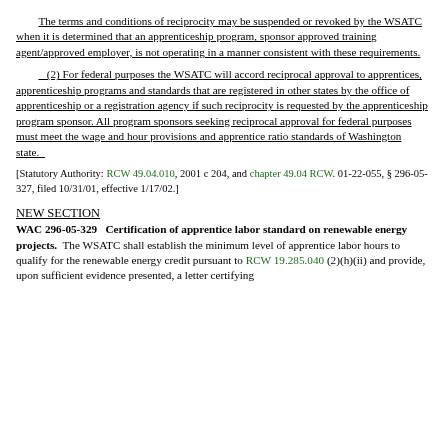The terms and conditions of reciprocity may be suspended or revoked by the WSATC when it is determined that an apprenticeship program, sponsor approved training agent/approved employer, is not operating in a manner consistent with these requirements.
(2) For federal purposes the WSATC will accord reciprocal approval to apprentices, apprenticeship programs and standards that are registered in other states by the office of apprenticeship or a registration agency if such reciprocity is requested by the apprenticeship program sponsor. All program sponsors seeking reciprocal approval for federal purposes must meet the wage and hour provisions and apprentice ratio standards of Washington state.
[Statutory Authority: RCW 49.04.010, 2001 c 204, and chapter 49.04 RCW. 01-22-055, § 296-05-327, filed 10/31/01, effective 1/17/02.]
NEW SECTION
WAC 296-05-329   Certification of apprentice labor standard on renewable energy projects.   The WSATC shall establish the minimum level of apprentice labor hours to qualify for the renewable energy credit pursuant to RCW 19.285.040 (2)(h)(ii) and provide, upon sufficient evidence presented, a letter certifying